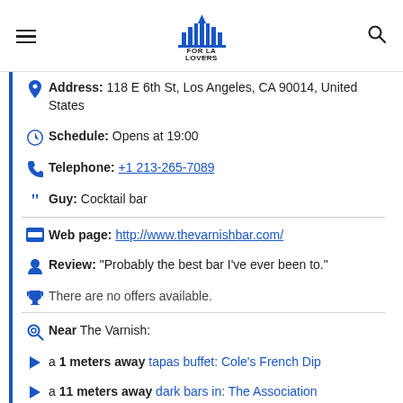FOR LA LOVERS
Address: 118 E 6th St, Los Angeles, CA 90014, United States
Schedule: Opens at 19:00
Telephone: +1 213-265-7089
Guy: Cocktail bar
Web page: http://www.thevarnishbar.com/
Review: "Probably the best bar I've ever been to."
There are no offers available.
Near The Varnish:
a 1 meters away tapas buffet: Cole's French Dip
a 11 meters away dark bars in: The Association